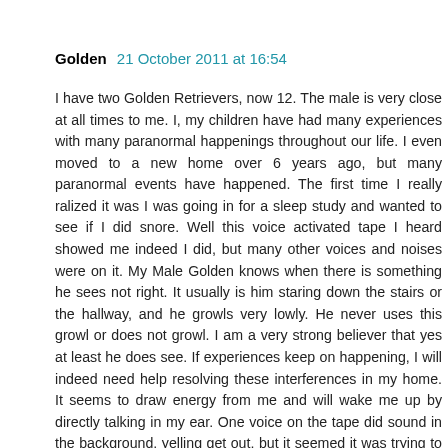Golden  21 October 2011 at 16:54
I have two Golden Retrievers, now 12. The male is very close at all times to me. I, my children have had many experiences with many paranormal happenings throughout our life. I even moved to a new home over 6 years ago, but many paranormal events have happened. The first time I really ralized it was I was going in for a sleep study and wanted to see if I did snore. Well this voice activated tape I heard showed me indeed I did, but many other voices and noises were on it. My Male Golden knows when there is something he sees not right. It usually is him staring down the stairs or the hallway, and he growls very lowly. He never uses this growl or does not growl. I am a very strong believer that yes at least he does see. If experiences keep on happening, I will indeed need help resolving these interferences in my home. It seems to draw energy from me and will wake me up by directly talking in my ear. One voice on the tape did sound in the background, yelling get out, but it seemed it was trying to order not me or the family out this male was ordering the unknown out. The voice was